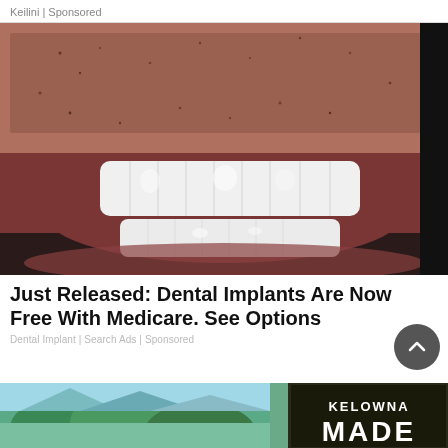Keilini | Sponsored
[Figure (photo): Close-up photo of a man's smile showing white dental implants/veneers on upper and lower teeth, with stubble visible on chin and upper lip.]
Just Released: Dental Implants Are Now Free With Medicare. See Options
Dental Implant | Search Ads | Sponsored
[Figure (photo): Partial banner image showing a landscape with trees and a 'KELOWNA MADE' logo overlay.]
[Figure (photo): Partial photo at the bottom showing a person, cropped at the bottom edge.]